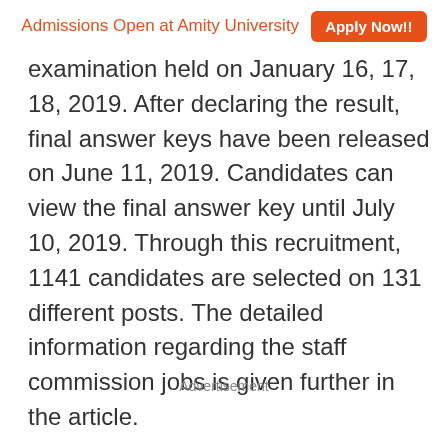Admissions Open at Amity University  Apply Now!!
examination held on January 16, 17, 18, 2019. After declaring the result, final answer keys have been released on June 11, 2019. Candidates can view the final answer key until July 10, 2019. Through this recruitment, 1141 candidates are selected on 131 different posts. The detailed information regarding the staff commission jobs is given further in the article.
Advertisement